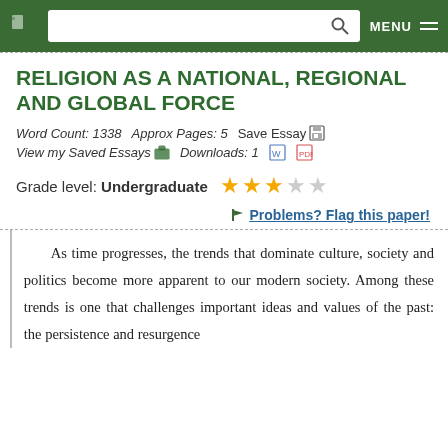MENU
RELIGION AS A NATIONAL, REGIONAL AND GLOBAL FORCE
Word Count: 1338    Approx Pages: 5    Save Essay
View my Saved Essays    Downloads: 1
Grade level: Undergraduate  ★★★☆☆
Problems? Flag this paper!
As time progresses, the trends that dominate culture, society and politics become more apparent to our modern society. Among these trends is one that challenges important ideas and values of the past: the persistence and resurgence